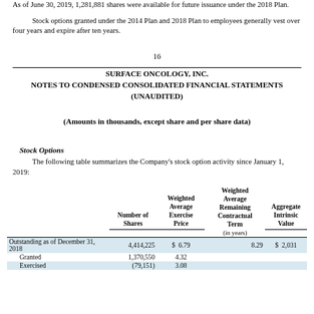As of June 30, 2019, 1,281,881 shares were available for future issuance under the 2018 Plan.
Stock options granted under the 2014 Plan and 2018 Plan to employees generally vest over four years and expire after ten years.
16
SURFACE ONCOLOGY, INC.
NOTES TO CONDENSED CONSOLIDATED FINANCIAL STATEMENTS (UNAUDITED)
(Amounts in thousands, except share and per share data)
Stock Options
The following table summarizes the Company's stock option activity since January 1, 2019:
|  | Number of Shares | Weighted Average Exercise Price | Weighted Average Remaining Contractual Term (in years) | Aggregate Intrinsic Value |
| --- | --- | --- | --- | --- |
| Outstanding as of December 31, 2018 | 4,414,225 | $ 6.79 | 8.29 | $ 2,031 |
| Granted | 1,370,550 | 4.32 |  |  |
| Exercised | (79,151) | 3.08 |  |  |